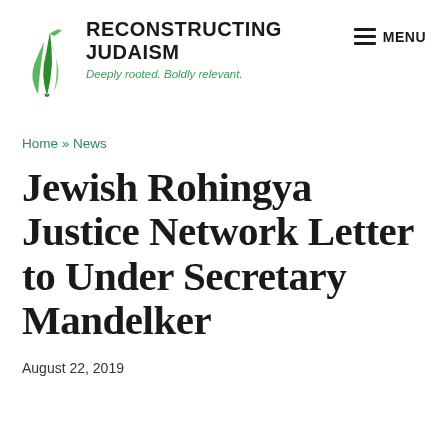[Figure (logo): Reconstructing Judaism logo with green wheat/leaf icon, bold text 'RECONSTRUCTING JUDAISM', tagline 'Deeply rooted. Boldly relevant.']
MENU
Home » News
Jewish Rohingya Justice Network Letter to Under Secretary Mandelker
August 22, 2019